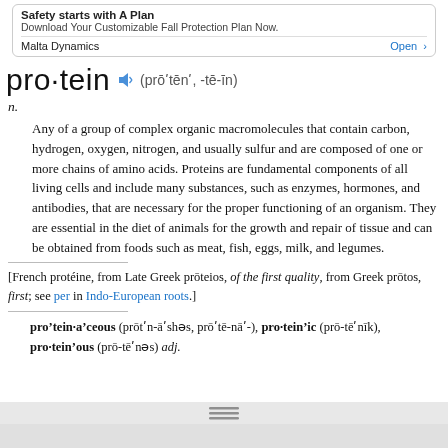Safety starts with A Plan
Download Your Customizable Fall Protection Plan Now.
Malta Dynamics   Open >
pro·tein  (prō′tēn′, -tē-in)
n.
Any of a group of complex organic macromolecules that contain carbon, hydrogen, oxygen, nitrogen, and usually sulfur and are composed of one or more chains of amino acids. Proteins are fundamental components of all living cells and include many substances, such as enzymes, hormones, and antibodies, that are necessary for the proper functioning of an organism. They are essential in the diet of animals for the growth and repair of tissue and can be obtained from foods such as meat, fish, eggs, milk, and legumes.
[French protéine, from Late Greek prōteios, of the first quality, from Greek prōtos, first; see per in Indo-European roots.]
pro′tein·a′ceous (prōt′n-ā′shəs, prō′tē-nā′-), pro·tein′ic (prō-tē′nīk), pro·tein′ous (prō-tē′nəs) adj.